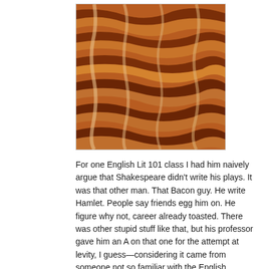[Figure (photo): Close-up photo of cooked bacon strips, showing crispy reddish-brown and orange strips of bacon.]
For one English Lit 101 class I had him naively argue that Shakespeare didn't write his plays. It was that other man. That Bacon guy. He write Hamlet. People say friends egg him on. He figure why not, career already toasted. There was other stupid stuff like that, but his professor gave him an A on that one for the attempt at levity, I guess—considering it came from someone not so familiar with the English language. That's the only way that one ever would have flown. I also had a good working knowledge of the instructor audiences for whom I was writing. Consequently, my pieces were always tailored with a high degree of specificity.
[Figure (photo): Photo of toast with an image of a person's face (Francis Bacon portrait) appearing on the toast surface.]